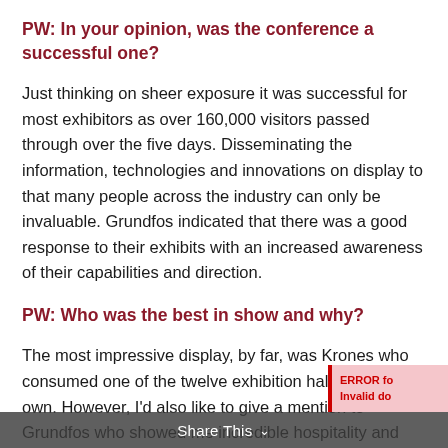PW: In your opinion, was the conference a successful one?
Just thinking on sheer exposure it was successful for most exhibitors as over 160,000 visitors passed through over the five days. Disseminating the information, technologies and innovations on display to that many people across the industry can only be invaluable. Grundfos indicated that there was a good response to their exhibits with an increased awareness of their capabilities and direction.
PW: Who was the best in show and why?
The most impressive display, by far, was Krones who consumed one of the twelve exhibition halls on their own. However, I'd also like to give a mention to Grundfos who showed me incredible hospitality and provided insights into the mass production environment as